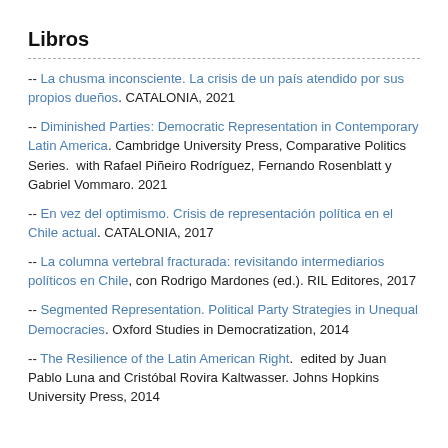Libros
-- La chusma inconsciente. La crisis de un país atendido por sus propios dueños. CATALONIA, 2021
-- Diminished Parties: Democratic Representation in Contemporary Latin America. Cambridge University Press, Comparative Politics Series.  with Rafael Piñeiro Rodríguez, Fernando Rosenblatt y Gabriel Vommaro. 2021
-- En vez del optimismo. Crisis de representación política en el Chile actual. CATALONIA, 2017
-- La columna vertebral fracturada: revisitando intermediarios políticos en Chile, con Rodrigo Mardones (ed.). RIL Editores, 2017
-- Segmented Representation. Political Party Strategies in Unequal Democracies. Oxford Studies in Democratization, 2014
-- The Resilience of the Latin American Right.  edited by Juan Pablo Luna and Cristóbal Rovira Kaltwasser. Johns Hopkins University Press, 2014